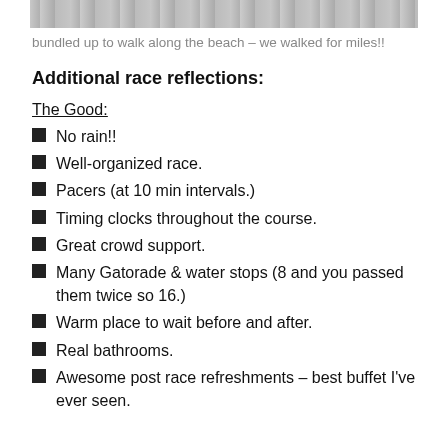[Figure (photo): Partial photo strip visible at top of page, appears to be a grayscale outdoor/beach scene]
bundled up to walk along the beach – we walked for miles!!
Additional race reflections:
The Good:
No rain!!
Well-organized race.
Pacers (at 10 min intervals.)
Timing clocks throughout the course.
Great crowd support.
Many Gatorade & water stops (8 and you passed them twice so 16.)
Warm place to wait before and after.
Real bathrooms.
Awesome post race refreshments – best buffet I've ever seen.